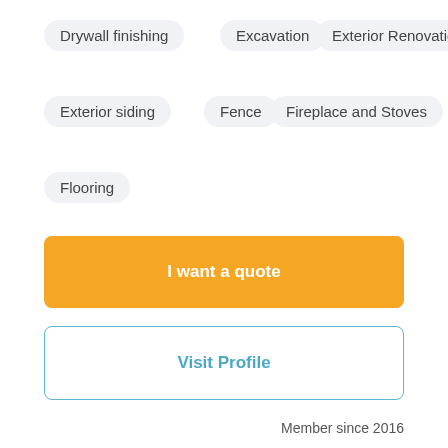Drywall finishing
Excavation
Exterior Renovation
Exterior siding
Fence
Fireplace and Stoves
Flooring
I want a quote
Visit Profile
Member since 2016
Transport & Location DMDJ Inc.